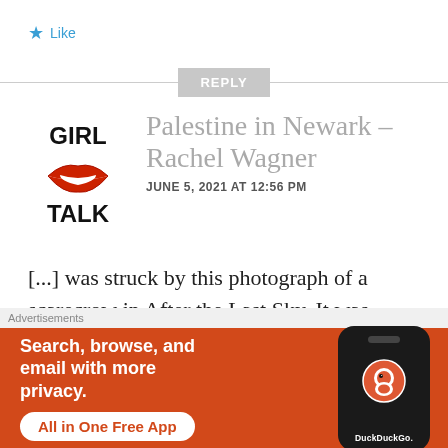★ Like
REPLY
[Figure (logo): Girl Talk logo with red lips and bold black text reading GIRL on top and TALK on bottom]
Palestine in Newark – Rachel Wagner
JUNE 5, 2021 AT 12:56 PM
[...] was struck by this photograph of a scarecrow in After the Last Sky. It was made
[Figure (infographic): DuckDuckGo advertisement banner with orange background. Text: Search, browse, and email with more privacy. All in One Free App. Shows a smartphone mock-up with DuckDuckGo logo.]
Advertisements